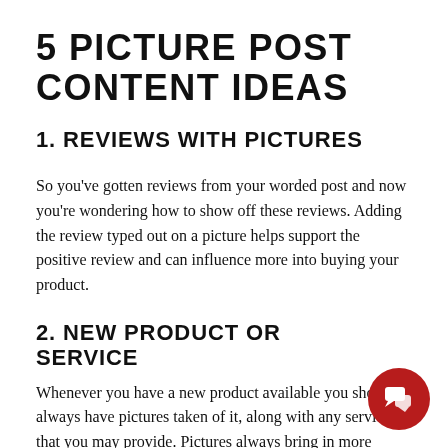5 PICTURE POST CONTENT IDEAS
1. REVIEWS WITH PICTURES
So you've gotten reviews from your worded post and now you're wondering how to show off these reviews. Adding the review typed out on a picture helps support the positive review and can influence more into buying your product.
2. NEW PRODUCT OR SERVICE
Whenever you have a new product available you should always have pictures taken of it, along with any services that you may provide. Pictures always bring in more